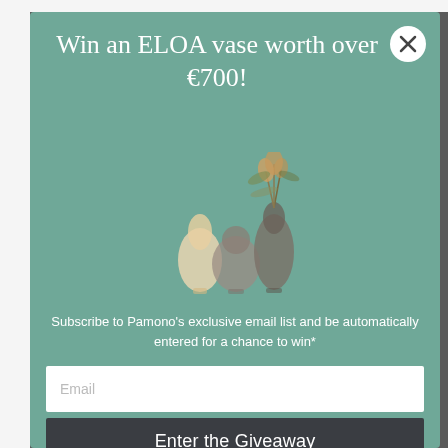Win an ELOA vase worth over €700!
[Figure (illustration): Three decorative ELOA glass vases of varying shapes and sizes with dried flowers/plants inside them, displayed on a teal/sage green background]
Subscribe to Pamono's exclusive email list and be automatically entered for a chance to win*
Email
Enter the Giveaway
*Please read our terms and conditions here